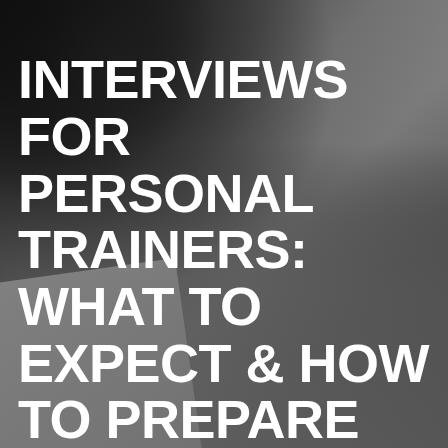[Figure (photo): Dark moody background photo showing what appears to be a person holding or reading papers/documents, shot from above at an angle. The upper portion is very dark (near black), transitioning to grey tones. A white/light-colored paper or book element is visible in the lower-left foreground.]
INTERVIEWS FOR PERSONAL TRAINERS: WHAT TO EXPECT & HOW TO PREPARE